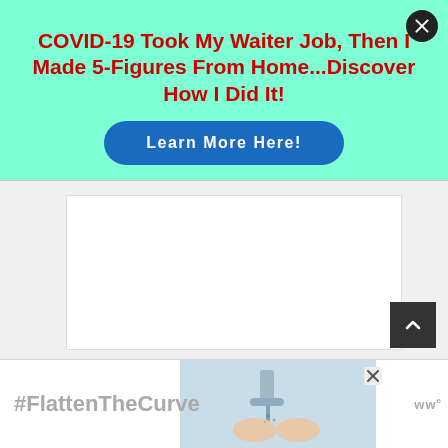[Figure (infographic): Teal/mint green advertisement banner with red bold headline text, a blue pill-shaped button labeled 'Learn More Here!', and a circular close (X) button in the top right corner.]
COVID-19 Took My Waiter Job, Then I Made 5-Figures From Home...Discover How I Did It!
Learn More Here!
[Figure (screenshot): White content area / article body placeholder, mostly blank white space representing a webpage article area.]
[Figure (infographic): Bottom advertisement banner showing '#FlattenTheCurve' text in gray, a photo of hands washing under a faucet, a close X button, and a logo 'ww' on the right side.]